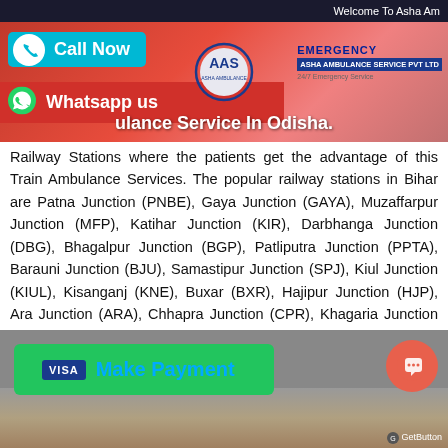Welcome To Asha Am
[Figure (screenshot): Hero banner with red/pink background showing ambulance service branding, Call Now button in teal, Whatsapp us button in red, AAS logo in center, EMERGENCY text and ASHA AMBULANCE SERVICE PVT LTD company name on right]
Railway Stations where the patients get the advantage of this Train Ambulance Services. The popular railway stations in Bihar are Patna Junction (PNBE), Gaya Junction (GAYA), Muzaffarpur Junction (MFP), Katihar Junction (KIR), Darbhanga Junction (DBG), Bhagalpur Junction (BGP), Patliputra Junction (PPTA), Barauni Junction (BJU), Samastipur Junction (SPJ), Kiul Junction (KIUL), Kisanganj (KNE), Buxar (BXR), Hajipur Junction (HJP), Ara Junction (ARA), Chhapra Junction (CPR), Khagaria Junction (KGG), Sonpur Junction (SEE), Danapur (DNR), Sasaram Junction (SSM), & Barsoi Junction (BOE).
[Figure (screenshot): Green Make Payment button with Visa logo and blue text, orange chat button on right, GetButton label, bottom shows photograph of medical/ambulance equipment]